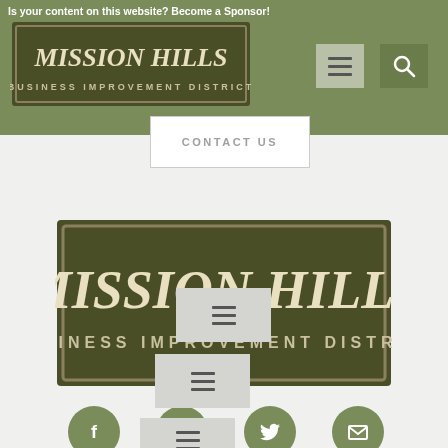Is your content on this website? Become a Sponsor!
[Figure (logo): Mission Hills Business Improvement District logo in header - dark olive/brown rectangular sign with cream text]
[Figure (screenshot): Menu hamburger icon button (grey background)]
[Figure (screenshot): Search magnifying glass icon button (olive green background)]
CONTACT US
[Figure (logo): Mission Hills Business Improvement District large logo - dark olive rectangular sign with cream text saying MISSION HILLS BUSINESS IMPROVEMENT DISTRICT]
[Figure (infographic): Row of 4 olive green circular social media icons: Facebook, Instagram, Twitter, Email/envelope]
[Figure (screenshot): Hamburger menu icon in grey box]
[Figure (screenshot): Hamburger menu icon in grey box]
[Figure (screenshot): Hamburger menu icon in grey box]